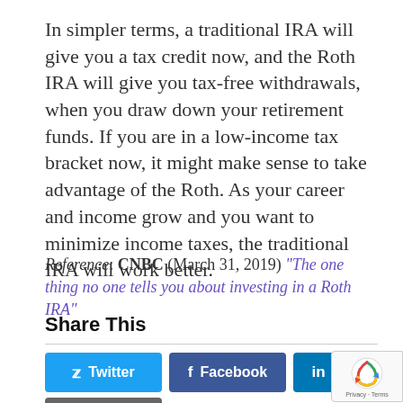In simpler terms, a traditional IRA will give you a tax credit now, and the Roth IRA will give you tax-free withdrawals, when you draw down your retirement funds. If you are in a low-income tax bracket now, it might make sense to take advantage of the Roth. As your career and income grow and you want to minimize income taxes, the traditional IRA will work better.
Reference: CNBC (March 31, 2019) "The one thing no one tells you about investing in a Roth IRA"
Share This